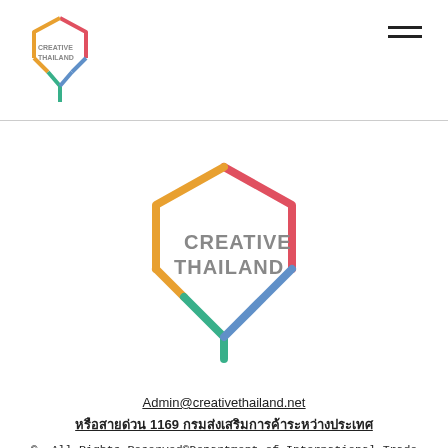[Figure (logo): Creative Thailand small logo in header, top-left]
[Figure (logo): Creative Thailand large logo in center of page]
Admin@creativethailand.net
หรือสายด่วน 1169 กรมส่งเสริมการค้าระหว่างประเทศ
© All Rights Reserved©Department of International Trade Promotion Ministry of Commerce, Thailand
[Figure (other): Facebook and YouTube social media icons]